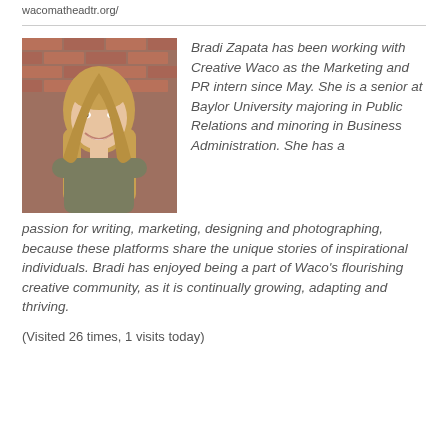wacomatheadtr.org/
[Figure (photo): Headshot photo of Bradi Zapata, a young woman with long blonde hair, wearing an olive/gray dress, standing in front of a brick wall, smiling.]
Bradi Zapata has been working with Creative Waco as the Marketing and PR intern since May. She is a senior at Baylor University majoring in Public Relations and minoring in Business Administration. She has a passion for writing, marketing, designing and photographing, because these platforms share the unique stories of inspirational individuals. Bradi has enjoyed being a part of Waco's flourishing creative community, as it is continually growing, adapting and thriving.
(Visited 26 times, 1 visits today)